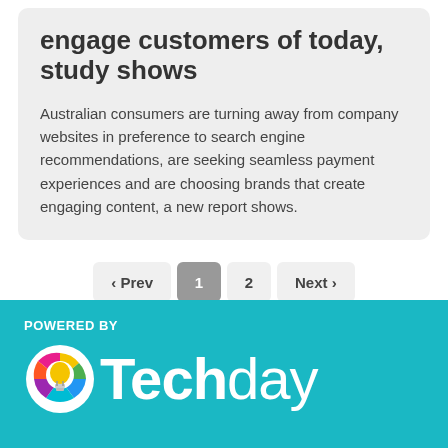engage customers of today, study shows
Australian consumers are turning away from company websites in preference to search engine recommendations, are seeking seamless payment experiences and are choosing brands that create engaging content, a new report shows.
[Figure (other): Pagination controls showing: ‹ Prev, 1 (active), 2, Next ›]
[Figure (logo): Techday logo on teal background with POWERED BY label. Logo consists of a circular icon with colorful segments and a lightbulb shape, followed by the word Techday in white bold/regular mixed font.]